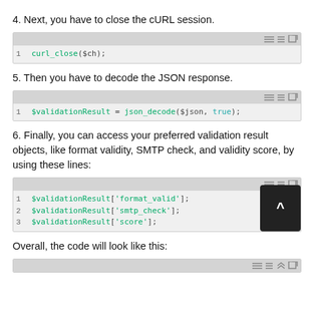4. Next, you have to close the cURL session.
[Figure (screenshot): Code block showing: 1  curl_close($ch);]
5. Then you have to decode the JSON response.
[Figure (screenshot): Code block showing: 1  $validationResult = json_decode($json, true);]
6. Finally, you can access your preferred validation result objects, like format validity, SMTP check, and validity score, by using these lines:
[Figure (screenshot): Code block showing three lines: 1 $validationResult['format_valid']; 2 $validationResult['smtp_check']; 3 $validationResult['score'];]
Overall, the code will look like this:
[Figure (screenshot): Code block (partial, cut off at bottom of page)]